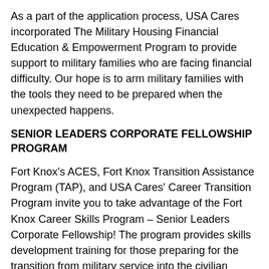As a part of the application process, USA Cares incorporated The Military Housing Financial Education & Empowerment Program to provide support to military families who are facing financial difficulty. Our hope is to arm military families with the tools they need to be prepared when the unexpected happens.
SENIOR LEADERS CORPORATE FELLOWSHIP PROGRAM
Fort Knox's ACES, Fort Knox Transition Assistance Program (TAP), and USA Cares' Career Transition Program invite you to take advantage of the Fort Knox Career Skills Program – Senior Leaders Corporate Fellowship! The program provides skills development training for those preparing for the transition from military service into the civilian workforce. Through this program, each participant will have the opportunity to participate in a fellowship at a local